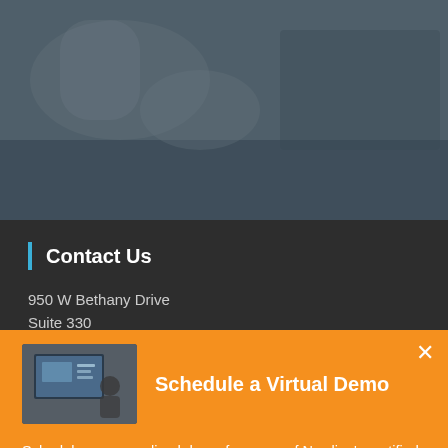[Figure (photo): Blurred office/lounge background photo with dark overlay]
Contact Us
950 W Bethany Drive
Suite 330
Schedule a Virtual Demo
[Figure (photo): Small thumbnail showing person at desk with screen displaying a presentation]
Schedule a personalized demo from one of Newline's certified trainers in a way that is more convenient for your team.
Schedule a Demo Now